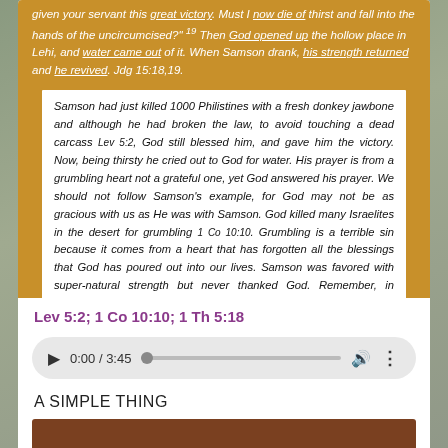given your servant this great victory. Must I now die of thirst and fall into the hands of the uncircumcised?" 19 Then God opened up the hollow place in Lehi, and water came out of it. When Samson drank, his strength returned and he revived. Jdg 15:18,19.
Samson had just killed 1000 Philistines with a fresh donkey jawbone and although he had broken the law, to avoid touching a dead carcass Lev 5:2, God still blessed him, and gave him the victory. Now, being thirsty he cried out to God for water. His prayer is from a grumbling heart not a grateful one, yet God answered his prayer. We should not follow Samson's example, for God may not be as gracious with us as He was with Samson. God killed many Israelites in the desert for grumbling 1 Co 10:10. Grumbling is a terrible sin because it comes from a heart that has forgotten all the blessings that God has poured out into our lives. Samson was favored with super-natural strength but never thanked God. Remember, in everything give thanks 1 Th 5:18.
Lev 5:2; 1 Co 10:10; 1 Th 5:18
[Figure (other): Audio player showing 0:00 / 3:45 with play button, progress bar, volume icon, and more options icon]
A SIMPLE THING
[Figure (photo): Brown/dark colored rectangular image bar at bottom of page]